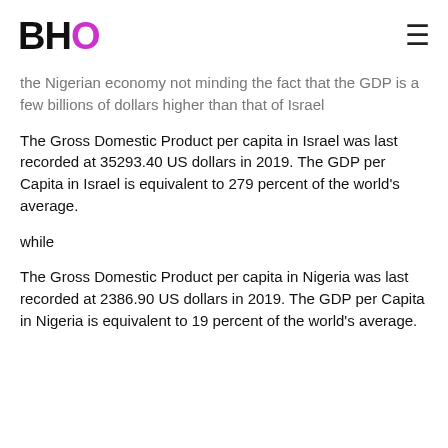BHO
the Nigerian economy not minding the fact that the GDP is a few billions of dollars higher than that of Israel
The Gross Domestic Product per capita in Israel was last recorded at 35293.40 US dollars in 2019. The GDP per Capita in Israel is equivalent to 279 percent of the world's average.
while
The Gross Domestic Product per capita in Nigeria was last recorded at 2386.90 US dollars in 2019. The GDP per Capita in Nigeria is equivalent to 19 percent of the world's average.